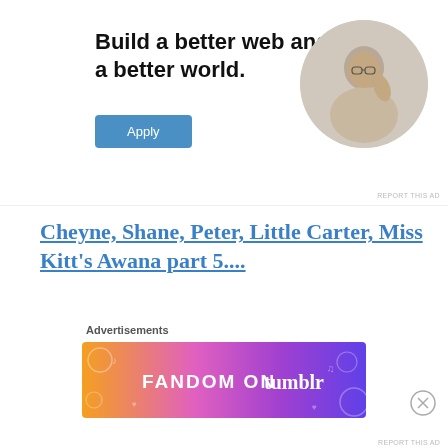[Figure (infographic): Advertisement banner with bold text 'Build a better web and a better world.' and an 'Apply' button, with a circular photo of a man thinking at a desk. 'REPORT THIS AD' text at bottom right.]
Cheyne, Shane, Peter, Little Carter, Miss Kitt's Awana part 5....
Share this:
[Figure (infographic): Advertisements banner with colorful gradient 'FANDOM ON tumblr' text on orange-to-purple gradient background with decorative icons. 'REPORT THIS AD' at bottom right.]